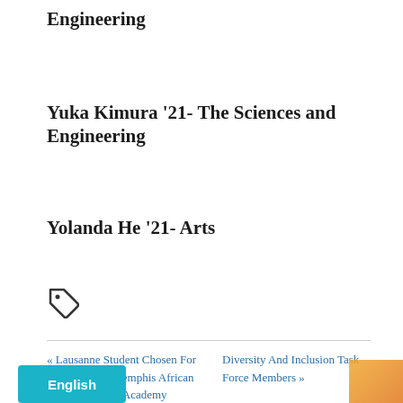Engineering
Yuka Kimura '21- The Sciences and Engineering
Yolanda He '21- Arts
[Figure (other): Tag/label icon]
« Lausanne Student Chosen For University of Memphis African American Male Academy
Diversity And Inclusion Task Force Members »